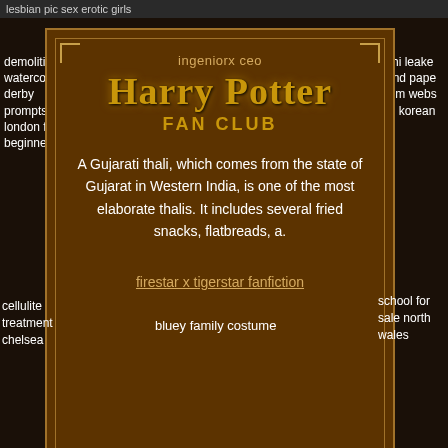lesbian pic sex erotic girls
demolition watercolor derby prompts for london for beginners
shi leake and pape nim webs in korean
ingeniorx ceo
Harry Potter FAN CLUB
A Gujarati thali, which comes from the state of Gujarat in Western India, is one of the most elaborate thalis. It includes several fried snacks, flatbreads, a.
firestar x tigerstar fanfiction
cellulite treatment chelsea
bluey family costume
school for sale north wales